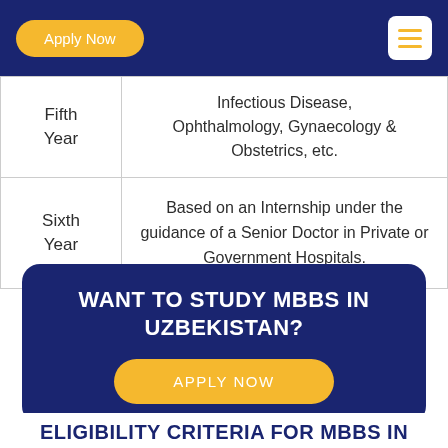Apply Now  [menu]
| Year | Subjects |
| --- | --- |
| Fifth Year | Infectious Disease, Ophthalmology, Gynaecology & Obstetrics, etc. |
| Sixth Year | Based on an Internship under the guidance of a Senior Doctor in Private or Government Hospitals. |
WANT TO STUDY MBBS IN UZBEKISTAN?
APPLY NOW
ELIGIBILITY CRITERIA FOR MBBS IN